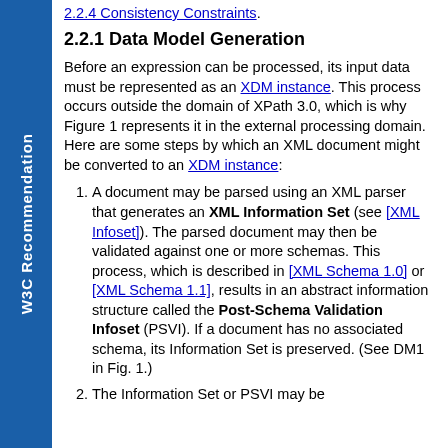2.2.4 Consistency Constraints.
2.2.1 Data Model Generation
Before an expression can be processed, its input data must be represented as an XDM instance. This process occurs outside the domain of XPath 3.0, which is why Figure 1 represents it in the external processing domain. Here are some steps by which an XML document might be converted to an XDM instance:
A document may be parsed using an XML parser that generates an XML Information Set (see [XML Infoset]). The parsed document may then be validated against one or more schemas. This process, which is described in [XML Schema 1.0] or [XML Schema 1.1], results in an abstract information structure called the Post-Schema Validation Infoset (PSVI). If a document has no associated schema, its Information Set is preserved. (See DM1 in Fig. 1.)
The Information Set or PSVI may be